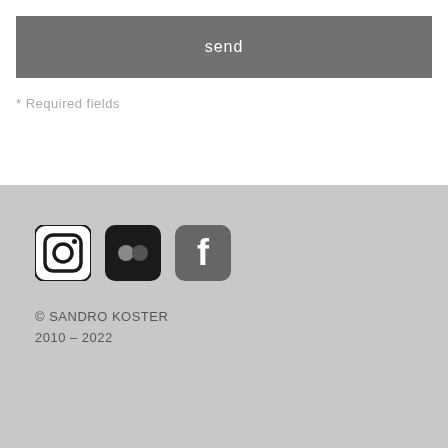send
* Required fields
[Figure (illustration): Three social media icons: Instagram, Flickr, and Facebook]
© SANDRO KOSTER
2010 - 2022